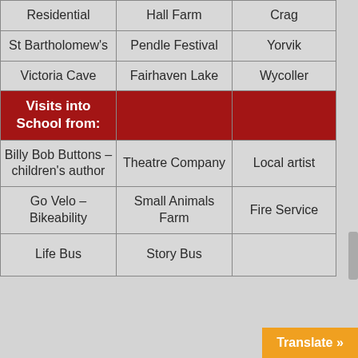|  |  |  |
| --- | --- | --- |
| Residential | Hall Farm | Crag |
| St Bartholomew's | Pendle Festival | Yorvik |
| Victoria Cave | Fairhaven Lake | Wycoller |
| Visits into School from: |  |  |
| Billy Bob Buttons – children's author | Theatre Company | Local artist |
| Go Velo – Bikeability | Small Animals Farm | Fire Service |
| Life Bus | Story Bus |  |